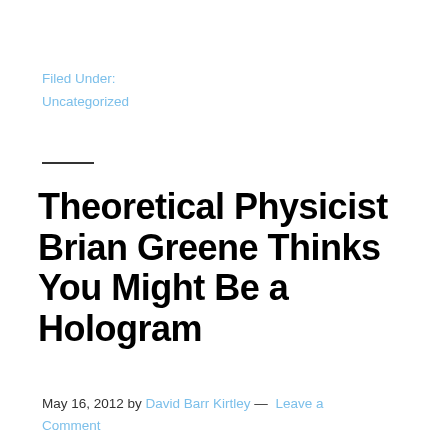Filed Under:
Uncategorized
Theoretical Physicist Brian Greene Thinks You Might Be a Hologram
May 16, 2012 by David Barr Kirtley — Leave a Comment